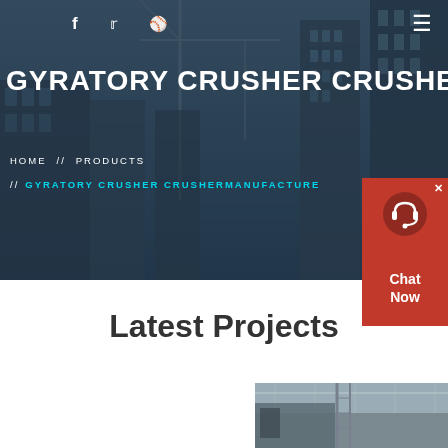[Figure (photo): Hero banner with dark overlay showing construction site with cranes and skyscrapers in background]
f  Twitter  Dribbble  ≡
GYRATORY CRUSHER CRUSHERM
HOME  //  PRODUCTS
//  GYRATORY CRUSHER CRUSHERMANUFACTURE
[Figure (screenshot): Red chat widget with headset icon and 'Chat Now' text]
Latest Projects
[Figure (photo): Industrial machinery/crusher equipment inside a large facility]